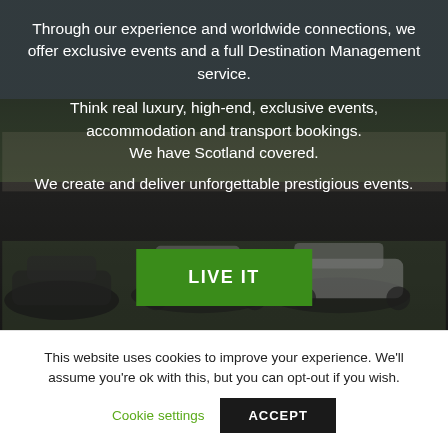[Figure (photo): Dark-tinted outdoor photo showing several white luxury cars parked on a grass lawn in front of a stone building, with overlaid white text and a green 'LIVE IT' button]
Through our experience and worldwide connections, we offer exclusive events and a full Destination Management service.
Think real luxury, high-end, exclusive events, accommodation and transport bookings. We have Scotland covered.
We create and deliver unforgettable prestigious events.
LIVE IT
This website uses cookies to improve your experience. We'll assume you're ok with this, but you can opt-out if you wish.
Cookie settings
ACCEPT